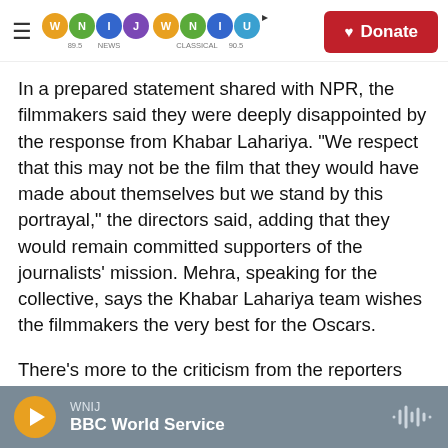WNIJ NEWS | WNIU CLASSICAL | Donate
In a prepared statement shared with NPR, the filmmakers said they were deeply disappointed by the response from Khabar Lahariya. "We respect that this may not be the film that they would have made about themselves but we stand by this portrayal," the directors said, adding that they would remain committed supporters of the journalists' mission. Mehra, speaking for the collective, says the Khabar Lahariya team wishes the filmmakers the very best for the Oscars.
There's more to the criticism from the reporters than the matter of whom they focus on in their
WNIJ | BBC World Service